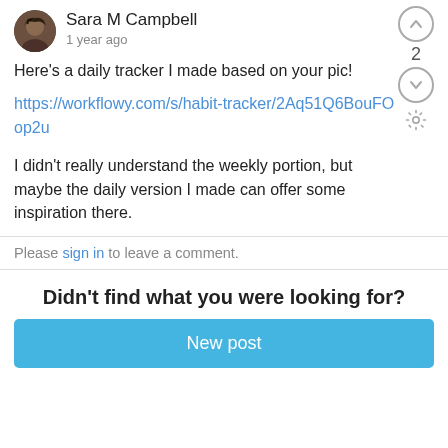Sara M Campbell
1 year ago
Here's a daily tracker I made based on your pic!
https://workflowy.com/s/habit-tracker/2Aq51Q6BouFOop2u
I didn't really understand the weekly portion, but maybe the daily version I made can offer some inspiration there.
Please sign in to leave a comment.
Didn't find what you were looking for?
New post